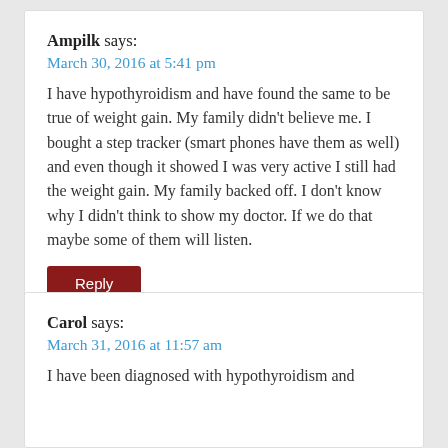Ampilk says:
March 30, 2016 at 5:41 pm
I have hypothyroidism and have found the same to be true of weight gain. My family didn't believe me. I bought a step tracker (smart phones have them as well) and even though it showed I was very active I still had the weight gain. My family backed off. I don't know why I didn't think to show my doctor. If we do that maybe some of them will listen.
Reply
Carol says:
March 31, 2016 at 11:57 am
I have been diagnosed with hypothyroidism and